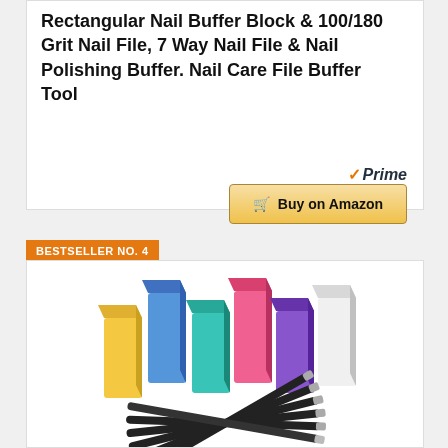Rectangular Nail Buffer Block & 100/180 Grit Nail File, 7 Way Nail File & Nail Polishing Buffer. Nail Care File Buffer Tool
[Figure (other): Buy on Amazon button with Prime badge (orange checkmark and italic Prime text)]
BESTSELLER NO. 4
[Figure (photo): Colorful rectangular nail buffer blocks (yellow, blue, teal, pink, purple, white) standing upright, with black nail files fanned out below them on a white background]